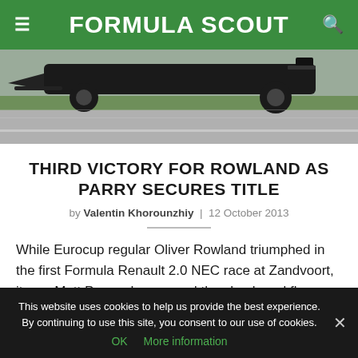FORMULA SCOUT
[Figure (photo): Formula car driving on a race track, viewed from the side, with green grass in the background and grey asphalt track surface]
THIRD VICTORY FOR ROWLAND AS PARRY SECURES TITLE
by Valentin Khorounzhiy  |  12 October 2013
While Eurocup regular Oliver Rowland triumphed in the first Formula Renault 2.0 NEC race at Zandvoort, it was Matt Parry who crossed the checkered flag as the series’ new champion.
This website uses cookies to help us provide the best experience. By continuing to use this site, you consent to our use of cookies.